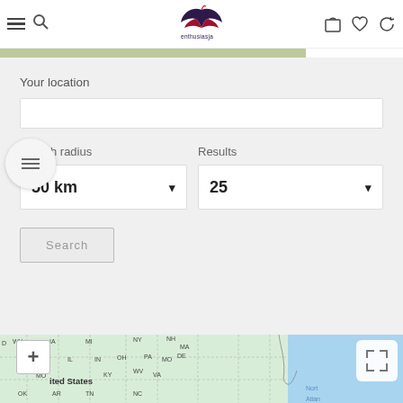[Figure (screenshot): Website header with hamburger menu, search icon, brand logo (bra silhouette with 'enthusiasja' text), and right-side icons for cart, wishlist, and account]
Your location
Search radius
Results
50 km
25
Search
[Figure (map): Map of United States showing eastern portion with state labels: WV, NY, NH, MA, NE, IA, IL, IN, OH, PA, MO, DE, KY, WV, VA, OK, AR, TN, NC, and 'United States' label. Atlantic Ocean visible on right. Map controls: zoom plus button, expand button.]